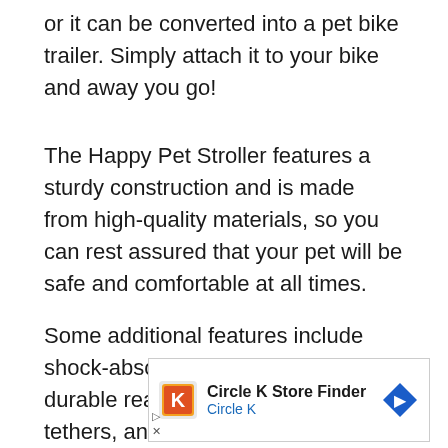or it can be converted into a pet bike trailer. Simply attach it to your bike and away you go!
The Happy Pet Stroller features a sturdy construction and is made from high-quality materials, so you can rest assured that your pet will be safe and comfortable at all times.
Some additional features include shock-absorbing rubber wheels, a durable rear wheel axle, 2 safety tethers, and reflector
[Figure (other): Circle K Store Finder advertisement banner with Circle K logo, navigation arrow icon, play and close controls]